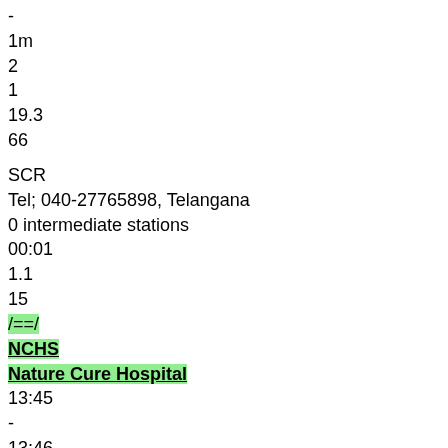-
1m
2
1
19.3
66
SCR
Tel; 040-27765898, Telangana
0 intermediate stations
00:01
1.1
15
/==/
NCHS
Nature Cure Hospital
13:45
-
13:46
-
1m
2
1
20.4
69